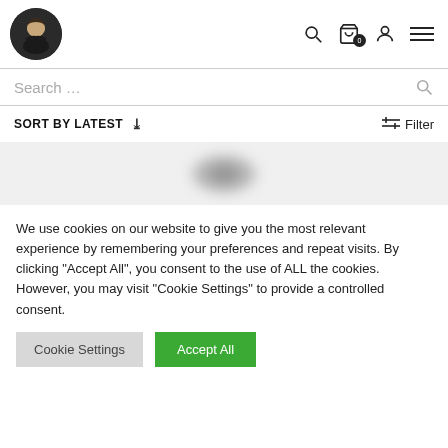[Figure (screenshot): Website header with oval avatar logo on the left, and icons (search, cart with badge 0, user, hamburger menu) on the right.]
Search …
SORT BY LATEST ∨   Filter
[Figure (photo): Blurred product image on light grey background.]
We use cookies on our website to give you the most relevant experience by remembering your preferences and repeat visits. By clicking "Accept All", you consent to the use of ALL the cookies. However, you may visit "Cookie Settings" to provide a controlled consent.
Cookie Settings   Accept All